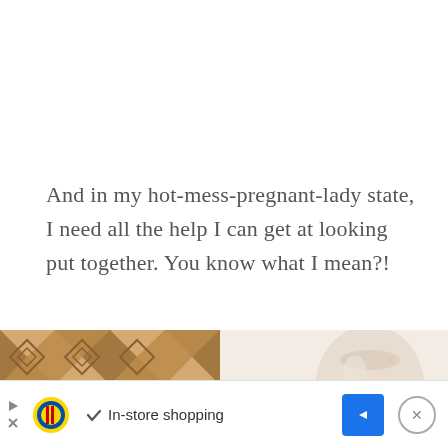And in my hot-mess-pregnant-lady state, I need all the help I can get at looking put together. You know what I mean?!
[Figure (photo): A decorative wooden panel with geometric chevron/arrow pattern on the left half, and a cream-colored lamp or decorative object on a light beige background on the right half.]
[Figure (screenshot): An advertisement banner at the bottom of the page showing the Lidl logo, a checkmark icon with 'In-store shopping' text, a blue diamond-shaped navigation arrow button, and a close button (X in circle) on the right.]